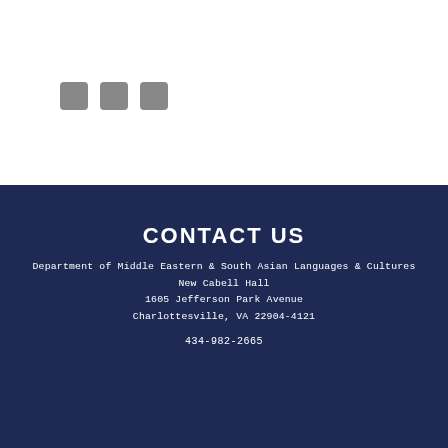[Figure (other): Three small grey square icon boxes in a row]
CONTACT US
Department of Middle Eastern & South Asian Languages & Cultures
New Cabell Hall
1605 Jefferson Park Avenue
Charlottesville, VA 22904-4121
434-982-2665
[Figure (other): White input form field with red asterisk marker above and below]